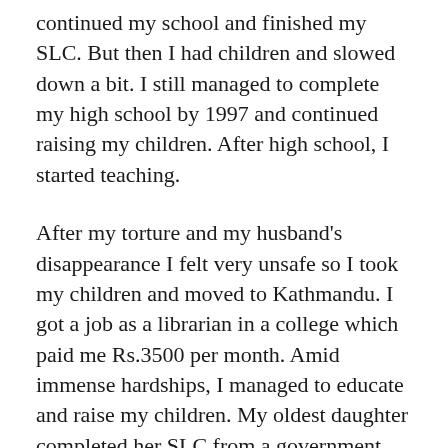continued my school and finished my SLC. But then I had children and slowed down a bit. I still managed to complete my high school by 1997 and continued raising my children. After high school, I started teaching.
After my torture and my husband's disappearance I felt very unsafe so I took my children and moved to Kathmandu. I got a job as a librarian in a college which paid me Rs.3500 per month. Amid immense hardships, I managed to educate and raise my children. My oldest daughter completed her SLC from a government school and started working. My younger daughter got a scholarship at a private school in Kathmandu and studied there. And after some years my son got a scholarship at a school in Pokhara and left at a young age to live in the school